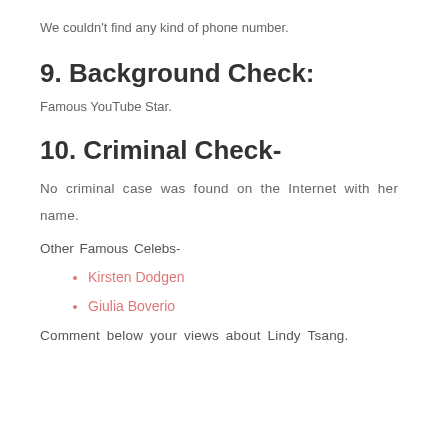We couldn't find any kind of phone number.
9. Background Check:
Famous YouTube Star.
10. Criminal Check-
No criminal case was found on the Internet with her name.
Other Famous Celebs-
Kirsten Dodgen
Giulia Boverio
Comment below your views about Lindy Tsang.